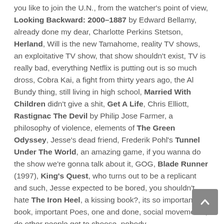you like to join the U.N., from the watcher's point of view, Looking Backward: 2000–1887 by Edward Bellamy, already done my dear, Charlotte Perkins Stetson, Herland, Will is the new Tamahome, reality TV shows, an exploitative TV show, that show shouldn't exist, TV is really bad, everything Netflix is putting out is so much dross, Cobra Kai, a fight from thirty years ago, the Al Bundy thing, still living in high school, Married With Children didn't give a shit, Get A Life, Chris Elliott, Rastignac The Devil by Philip Jose Farmer, a philosophy of violence, elements of The Green Odyssey, Jesse's dead friend, Frederik Pohl's Tunnel Under The World, an amazing game, if you wanna do the show we're gonna talk about it, GOG, Blade Runner (1997), King's Quest, who turns out to be a replicant and such, Jesse expected to be bored, you shouldn't hate The Iron Heel, a kissing book?, its so important book, important Poes, one and done, social movements, do other people get to choose, nobody